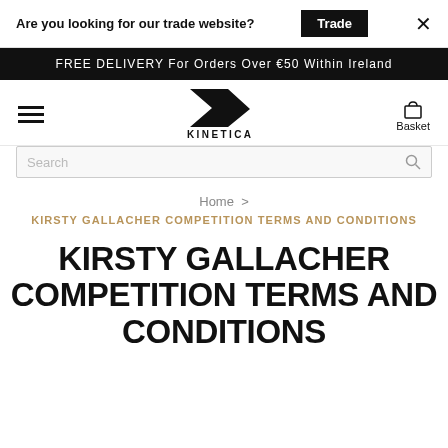Are you looking for our trade website? Trade ×
FREE DELIVERY For Orders Over €50 Within Ireland
KINETICA — Basket
Home >
KIRSTY GALLACHER COMPETITION TERMS AND CONDITIONS
KIRSTY GALLACHER COMPETITION TERMS AND CONDITIONS